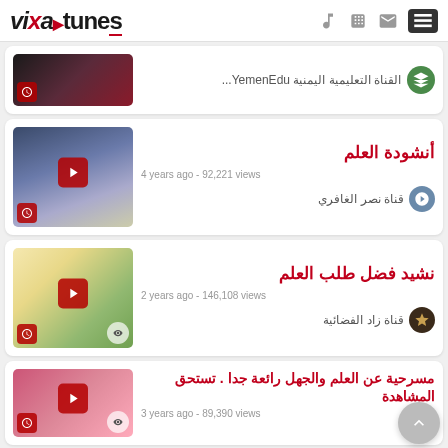vixa tunes - navigation header with music, video, mail, menu icons
[Figure (screenshot): Partial video card with dark thumbnail and clock icon, channel: القناة التعليمية اليمنية YemenEdu...]
[Figure (screenshot): Video card: أنشودة العلم, 4 years ago - 92,221 views, channel: قناة نصر الغافري]
[Figure (screenshot): Video card: نشيد فضل طلب العلم, 2 years ago - 146,108 views, channel: قناة زاد الفضائية]
[Figure (screenshot): Partial video card: مسرحية عن العلم والجهل رائعة جدا . تستحق المشاهدة, 3 years ago - 89,390 views]